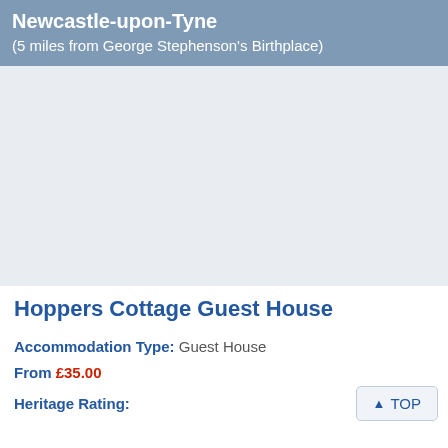Newcastle-upon-Tyne
(5 miles from George Stephenson's Birthplace)
[Figure (photo): Photo of Hoppers Cottage Guest House (placeholder/white area)]
Hoppers Cottage Guest House
Accommodation Type: Guest House
From £35.00
Heritage Rating: